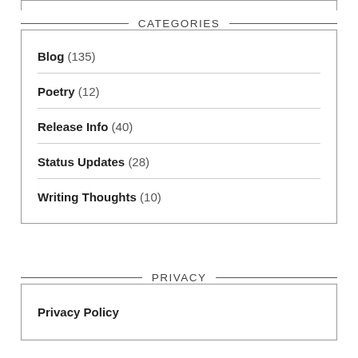CATEGORIES
Blog (135)
Poetry (12)
Release Info (40)
Status Updates (28)
Writing Thoughts (10)
PRIVACY
Privacy Policy